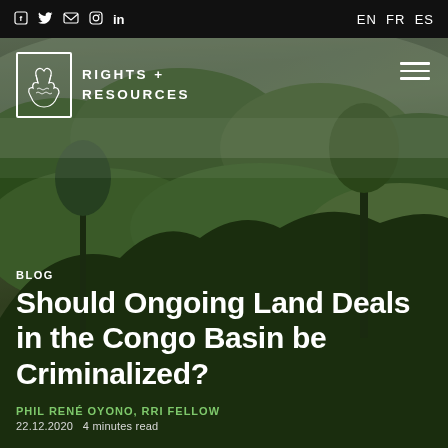f  Twitter  mail  Instagram  in    EN  FR  ES
[Figure (photo): Aerial view of dense Congo Basin rainforest with mist and fog over treetops, dark moody atmosphere]
[Figure (logo): Rights + Resources Initiative logo: white hands icon in a rectangle border, with text RIGHTS + RESOURCES in white capital letters]
BLOG
Should Ongoing Land Deals in the Congo Basin be Criminalized?
PHIL RENÉ OYONO, RRI FELLOW
22.12.2020  4 minutes read